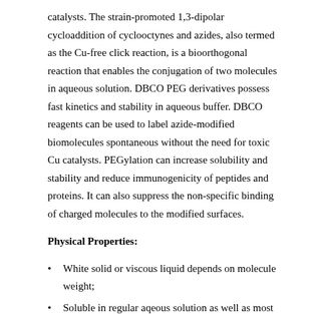catalysts. The strain-promoted 1,3-dipolar cycloaddition of cyclooctynes and azides, also termed as the Cu-free click reaction, is a bioorthogonal reaction that enables the conjugation of two molecules in aqueous solution. DBCO PEG derivatives possess fast kinetics and stability in aqueous buffer. DBCO reagents can be used to label azide-modified biomolecules spontaneous without the need for toxic Cu catalysts. PEGylation can increase solubility and stability and reduce immunogenicity of peptides and proteins. It can also suppress the non-specific binding of charged molecules to the modified surfaces.
Physical Properties:
White solid or viscous liquid depends on molecule weight;
Soluble in regular aqeous solution as well as most organic solvents;
Copper-free Click reaction procedures: